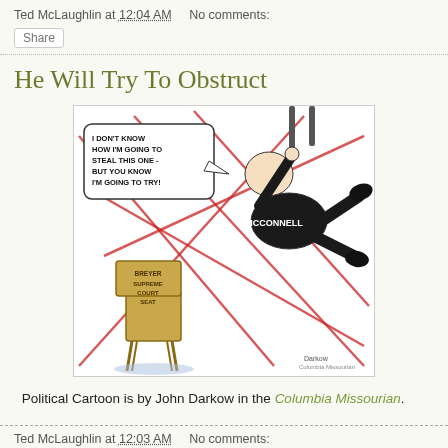Ted McLaughlin at 12:04 AM   No comments:
Share
He Will Try To Obstruct
[Figure (illustration): Political cartoon by John Darkow showing McConnell dressed in black hanging from ropes with red X lines crossed over the scene, with a speech bubble saying 'I DON'T KNOW HOW I'M GOING TO STEAL THIS ONE - BUT YOU KNOW I'M GOING TO TRY!' and a chair labeled 'BREYER SUPREME COURT SEAT'.]
Political Cartoon is by John Darkow in the Columbia Missourian.
Ted McLaughlin at 12:03 AM   No comments: